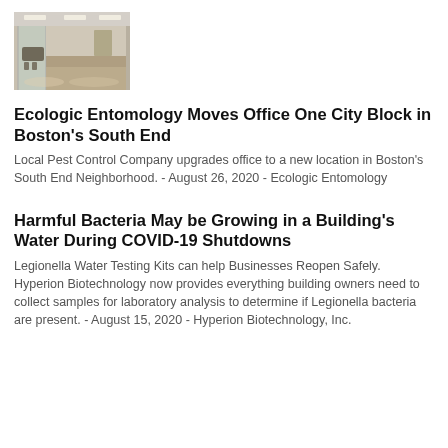[Figure (photo): Interior hallway of an office with glass walls, chairs visible in a conference room, and polished floors with overhead lighting.]
Ecologic Entomology Moves Office One City Block in Boston's South End
Local Pest Control Company upgrades office to a new location in Boston's South End Neighborhood. - August 26, 2020 - Ecologic Entomology
Harmful Bacteria May be Growing in a Building's Water During COVID-19 Shutdowns
Legionella Water Testing Kits can help Businesses Reopen Safely. Hyperion Biotechnology now provides everything building owners need to collect samples for laboratory analysis to determine if Legionella bacteria are present. - August 15, 2020 - Hyperion Biotechnology, Inc.